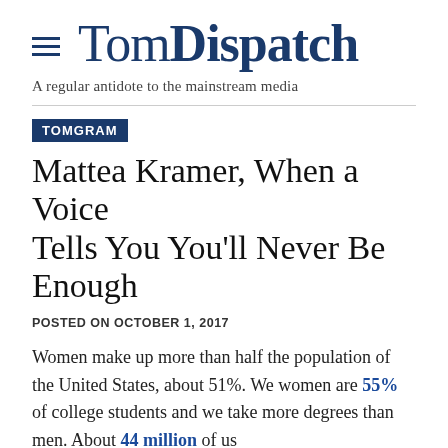TomDispatch — A regular antidote to the mainstream media
TOMGRAM
Mattea Kramer, When a Voice Tells You You'll Never Be Enough
POSTED ON OCTOBER 1, 2017
Women make up more than half the population of the United States, about 51%. We women are 55% of college students and we take more degrees than men. About 44 million of us